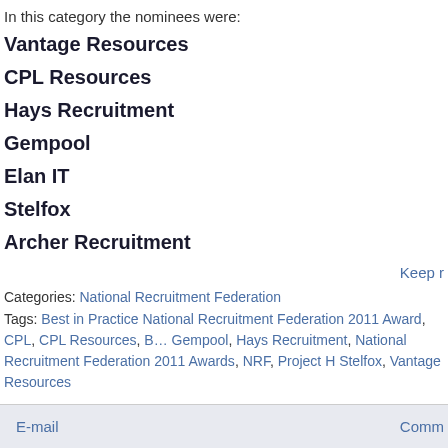In this category the nominees were:
Vantage Resources
CPL Resources
Hays Recruitment
Gempool
Elan IT
Stelfox
Archer Recruitment
Keep r
Categories: National Recruitment Federation
Tags: Best in Practice National Recruitment Federation 2011 Award, CPL, CPL Resources, Gempool, Hays Recruitment, National Recruitment Federation 2011 Awards, NRF, Project H, Stelfox, Vantage Resources
E-mail   Comm